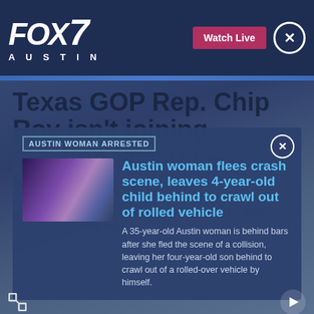FOX 7 AUSTIN
Texas GOP Rep. Chip Roy isn't joining election lawsuit – here's why
By Vandana Rambaran | Published December 11, 2020
| 2020 Election | FOX News
AUSTIN WOMAN ARRESTED
[Figure (photo): News image thumbnail with purple/blue tones for Austin woman crash story]
Austin woman flees crash scene, leaves 4-year-old child behind to crawl out of rolled vehicle
A 35-year-old Austin woman is behind bars after she fled the scene of a collision, leaving her four-year-old son behind to crawl out of a rolled-over vehicle by himself.